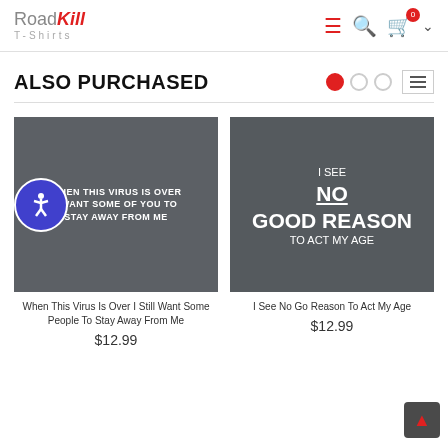RoadKill T-Shirts
ALSO PURCHASED
[Figure (photo): Dark gray square image with white bold text: WHEN THIS VIRUS IS OVER I WANT SOME OF YOU TO STAY AWAY FROM ME. Accessibility badge overlay on left.]
When This Virus Is Over I Still Want Some People To Stay Away From Me
$12.99
[Figure (photo): Dark gray square image with white handwritten text: I SEE NO GOOD REASON TO ACT MY AGE]
I See No Go Reason To Act My Age
$12.99